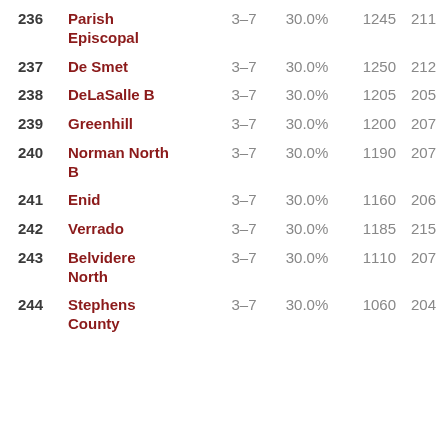| # | Name | Record | Pct | Pts | Rank2 |
| --- | --- | --- | --- | --- | --- |
| 236 | Parish Episcopal | 3-7 | 30.0% | 1245 | 211 |
| 237 | De Smet | 3-7 | 30.0% | 1250 | 212 |
| 238 | DeLaSalle B | 3-7 | 30.0% | 1205 | 205 |
| 239 | Greenhill | 3-7 | 30.0% | 1200 | 207 |
| 240 | Norman North B | 3-7 | 30.0% | 1190 | 207 |
| 241 | Enid | 3-7 | 30.0% | 1160 | 206 |
| 242 | Verrado | 3-7 | 30.0% | 1185 | 215 |
| 243 | Belvidere North | 3-7 | 30.0% | 1110 | 207 |
| 244 | Stephens County | 3-7 | 30.0% | 1060 | 204 |